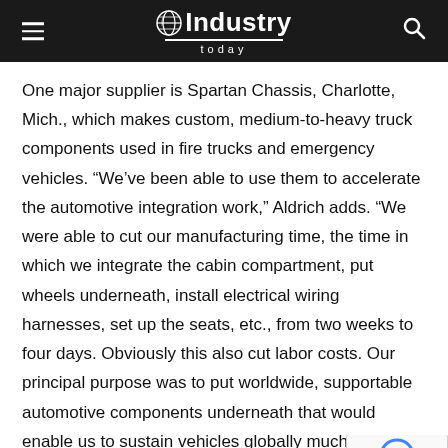Industry Today
One major supplier is Spartan Chassis, Charlotte, Mich., which makes custom, medium-to-heavy truck components used in fire trucks and emergency vehicles. “We’ve been able to use them to accelerate the automotive integration work,” Aldrich adds. “We were able to cut our manufacturing time, the time in which we integrate the cabin compartment, put wheels underneath, install electrical wiring harnesses, set up the seats, etc., from two weeks to four days. Obviously this also cut labor costs. Our principal purpose was to put worldwide, supportable automotive components underneath that would enable us to sustain vehicles globally much efficiently,” Aldrich says. “The efficiency and autom expertise that Spartan brought to our manufacturing